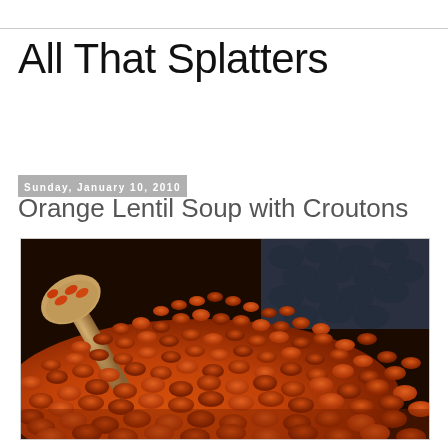All That Splatters
Sunday, January 10, 2010
Orange Lentil Soup with Croutons
[Figure (photo): Close-up photograph of a large pile of orange/red lentils with a wooden scoop, displayed against a dark blue-grey knitted fabric background]